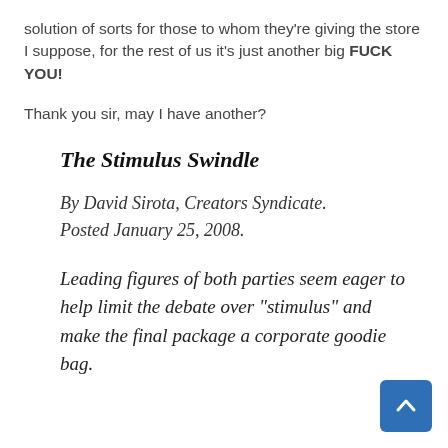solution of sorts for those to whom they’re giving the store I suppose, for the rest of us it’s just another big FUCK YOU!
Thank you sir, may I have another?
The Stimulus Swindle
By David Sirota, Creators Syndicate. Posted January 25, 2008.
Leading figures of both parties seem eager to help limit the debate over “stimulus” and make the final package a corporate goodie bag.